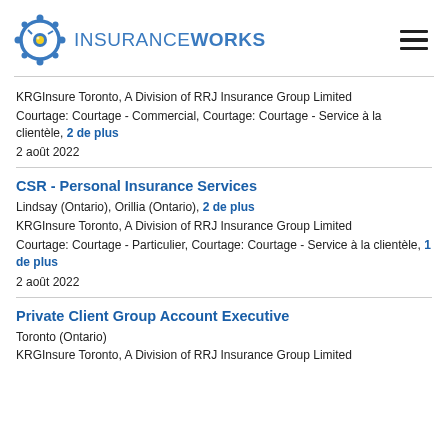[Figure (logo): InsuranceWorks logo with stylized eye graphic and text INSURANCEWORKS]
KRGInsure Toronto, A Division of RRJ Insurance Group Limited
Courtage: Courtage - Commercial, Courtage: Courtage - Service à la clientèle, 2 de plus
2 août 2022
CSR - Personal Insurance Services
Lindsay (Ontario), Orillia (Ontario), 2 de plus
KRGInsure Toronto, A Division of RRJ Insurance Group Limited
Courtage: Courtage - Particulier, Courtage: Courtage - Service à la clientèle, 1 de plus
2 août 2022
Private Client Group Account Executive
Toronto (Ontario)
KRGInsure Toronto, A Division of RRJ Insurance Group Limited